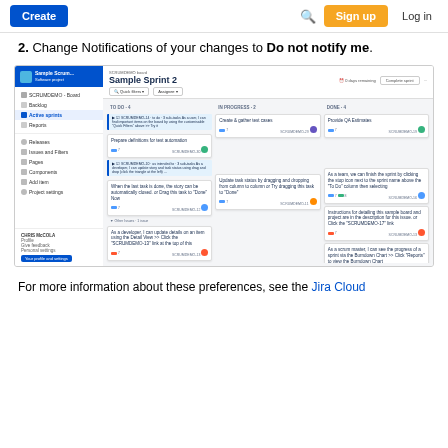Create | [search] | Sign up | Log in
2. Change Notifications of your changes to Do not notify me.
[Figure (screenshot): Jira Software Sample Sprint 2 board screenshot showing a Scrum board with To Do, In Progress, and Done columns containing various task cards such as 'Prepare definitions for test automation', 'Create & gather test cases', 'Provide QA Estimates', and others. Sidebar shows project navigation including Backlog, Active sprints, Reports.]
For more information about these preferences, see the Jira Cloud